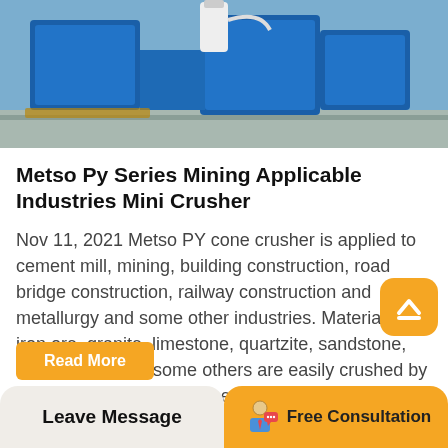[Figure (photo): Blue industrial mining crusher machine on a floor, showing hydraulic components and a white container on top.]
Metso Py Series Mining Applicable Industries Mini Crusher
Nov 11, 2021 Metso PY cone crusher is applied to cement mill, mining, building construction, road bridge construction, railway construction and metallurgy and some other industries. Materials like iron ore, granite, limestone, quartzite, sandstone, cobblestone and some others are easily crushed by cone crusher. Metso PY series Hydraulic Stone cone Crusher Home PY series Hydraulic Stone cone Crusher.
Read More   Leave Message   Free Consultation